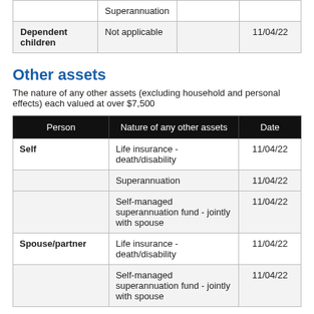|  | Superannuation |  |  |
| --- | --- | --- | --- |
| Dependent children | Not applicable |  | 11/04/22 |
Other assets
The nature of any other assets (excluding household and personal effects) each valued at over $7,500
| Person | Nature of any other assets | Date |
| --- | --- | --- |
| Self | Life insurance - death/disability | 11/04/22 |
|  | Superannuation | 11/04/22 |
|  | Self-managed superannuation fund - jointly with spouse | 11/04/22 |
| Spouse/partner | Life insurance - death/disability | 11/04/22 |
|  | Self-managed superannuation fund - jointly with spouse | 11/04/22 |